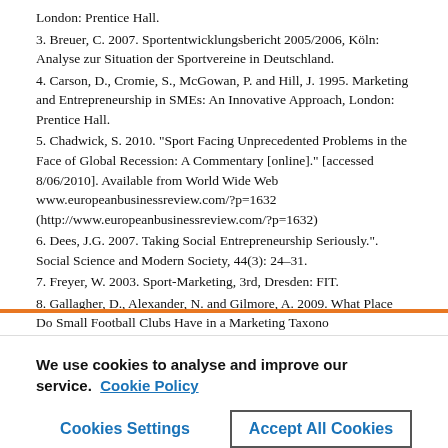London: Prentice Hall.
3. Breuer, C. 2007. Sportentwicklungsbericht 2005/2006, Köln: Analyse zur Situation der Sportvereine in Deutschland.
4. Carson, D., Cromie, S., McGowan, P. and Hill, J. 1995. Marketing and Entrepreneurship in SMEs: An Innovative Approach, London: Prentice Hall.
5. Chadwick, S. 2010. "Sport Facing Unprecedented Problems in the Face of Global Recession: A Commentary [online]." [accessed 8/06/2010]. Available from World Wide Web www.europeanbusinessreview.com/?p=1632 (http://www.europeanbusinessreview.com/?p=1632)
6. Dees, J.G. 2007. Taking Social Entrepreneurship Seriously.". Social Science and Modern Society, 44(3): 24–31.
7. Freyer, W. 2003. Sport-Marketing, 3rd, Dresden: FIT.
8. Gallagher, D., Alexander, N. and Gilmore, A. 2009. What Place Do Small Football Clubs Have in a Marketing Taxonomy...
We use cookies to analyse and improve our service. Cookie Policy
Cookies Settings
Accept All Cookies